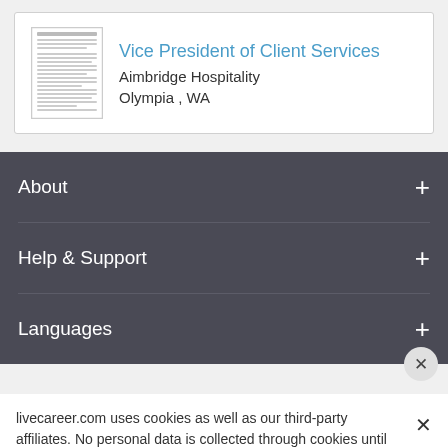[Figure (screenshot): Thumbnail image of a resume document]
Vice President of Client Services
Aimbridge Hospitality
Olympia , WA
About
Help & Support
Languages
livecareer.com uses cookies as well as our third-party affiliates. No personal data is collected through cookies until you opt in to create your resume. Learn more